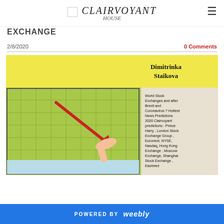CLAIRVOYANT HOUSE
EXCHANGE
2/8/2020
0 Comments
[Figure (photo): Book cover image for 'World Stock Exchanges and after Brexit and Coronavirus? Hottest News Predictions 2020 Clairvoyant predictions: Prince Harry, London Stock Exchange Group, Euronext, NYSE, Nasdaq, Hong Kong Exchange, Moscow Exchange, Shanghai Stock Exchange, Eastmed' by Dimitrinka Staikova. Shows a hand pointing at a downward-trending red arrow on a green grid chart on a screen.]
POWERED BY weebly